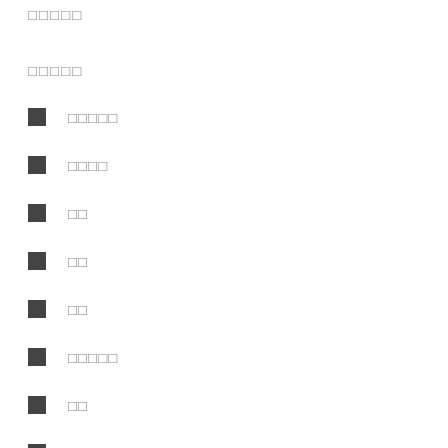□□□□□
□□□□□
□□□□□
□□□□
□□
□□
□□
□□□□□
□□
□□
□□□□□